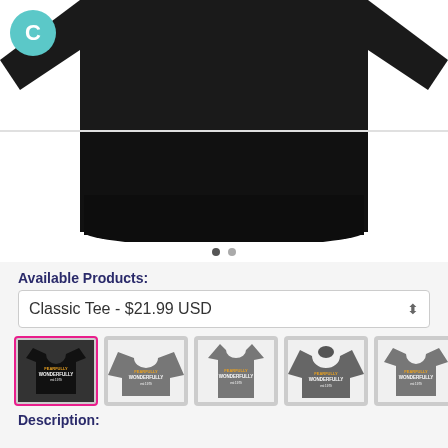[Figure (photo): Black t-shirt product photo showing bottom portion of shirt on white background, with teal C logo circle in top-left corner]
Available Products:
Classic Tee - $21.99 USD
[Figure (photo): Row of 5 product thumbnails: black classic tee (selected, pink border), grey long-sleeve, grey tank top, grey hoodie, grey t-shirt — all showing 'Fearfully & Wonderfully made est 1979' design]
Description: